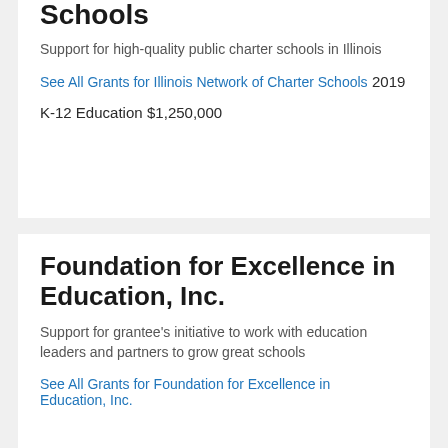Schools
Support for high-quality public charter schools in Illinois
See All Grants for Illinois Network of Charter Schools
2019
K-12 Education
$1,250,000
Foundation for Excellence in Education, Inc.
Support for grantee's initiative to work with education leaders and partners to grow great schools
See All Grants for Foundation for Excellence in Education, Inc.